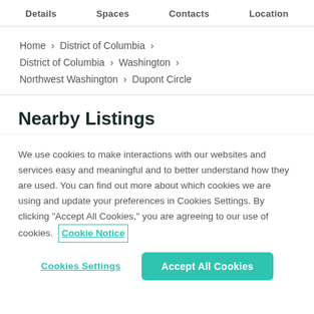Details   Spaces   Contacts   Location
Home > District of Columbia > District of Columbia > Washington > Northwest Washington > Dupont Circle
Nearby Listings
We use cookies to make interactions with our websites and services easy and meaningful and to better understand how they are used. You can find out more about which cookies we are using and update your preferences in Cookies Settings. By clicking "Accept All Cookies," you are agreeing to our use of cookies.  Cookie Notice
Cookies Settings   Accept All Cookies